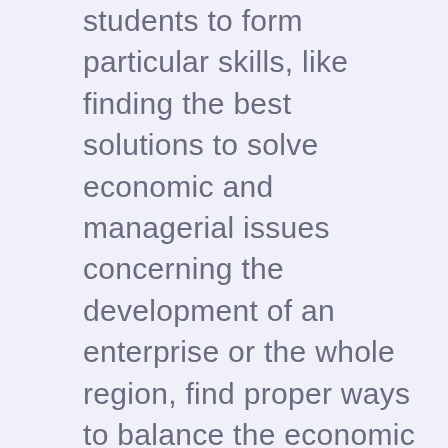students to form particular skills, like finding the best solutions to solve economic and managerial issues concerning the development of an enterprise or the whole region, find proper ways to balance the economic environment, demonstrate personal flexibility and efficiency. Thus, college and university tutors ask students to prepare some essays, researches, and business reports to reveal such properties.

Why is business essay writing so crucial? You may ask. Its main mission is to develop and strengthen a student's awareness